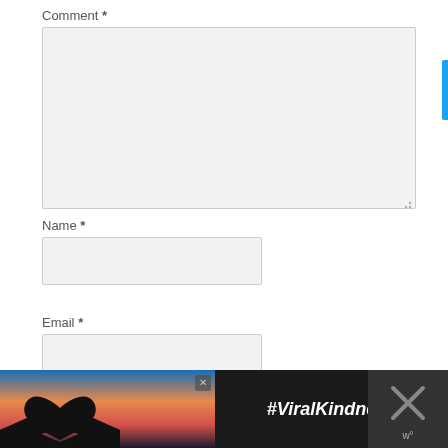Comment *
[Figure (screenshot): Empty comment textarea input field with light gray background and resize handle at bottom right]
Name *
[Figure (screenshot): Empty name text input field with light gray background]
Email *
[Figure (screenshot): Empty email text input field with light gray background]
[Figure (infographic): Advertisement banner at bottom showing silhouette of hands making a heart shape against sunset sky, with #ViralKindness text and a weather/close icon on the right]